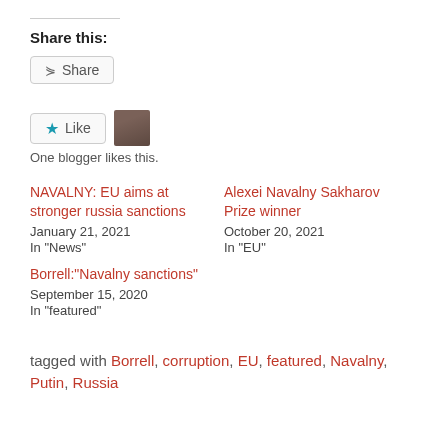Share this:
Share
Like
One blogger likes this.
NAVALNY: EU aims at stronger russia sanctions
January 21, 2021
In "News"
Alexei Navalny Sakharov Prize winner
October 20, 2021
In "EU"
Borrell:“Navalny sanctions”
September 15, 2020
In "featured"
tagged with Borrell, corruption, EU, featured, Navalny, Putin, Russia